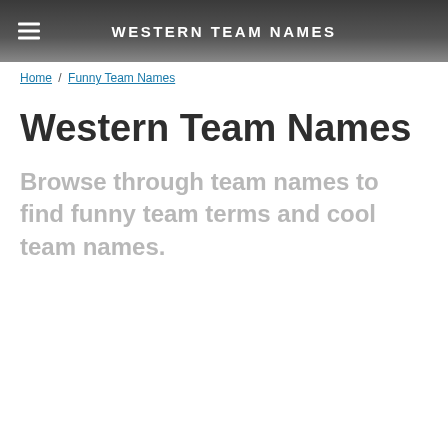WESTERN TEAM NAMES
Home / Funny Team Names
Western Team Names
Browse through team names to find funny team terms and cool team names.